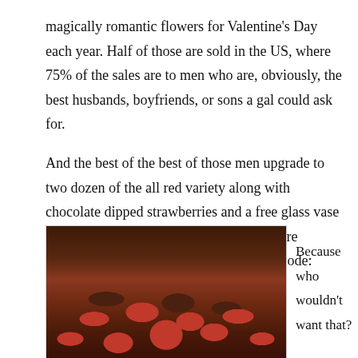magically romantic flowers for Valentine’s Day each year. Half of those are sold in the US, where 75% of the sales are to men who are, obviously, the best husbands, boyfriends, or sons a gal could ask for.
And the best of the best of those men upgrade to two dozen of the all red variety along with chocolate dipped strawberries and a free glass vase for only $59.99 as long as they order before midnight on February 12 and use promo code: Napoleon.
[Figure (photo): Close-up photo of chocolate dipped strawberries arranged together]
Because who wouldn’t want that?